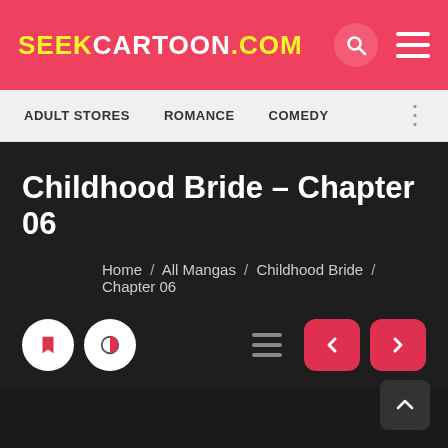SEEKCARTOON.COM
ADULT STORES   ROMANCE   COMEDY
Childhood Bride – Chapter 06
Home / All Mangas / Childhood Bride / Chapter 06